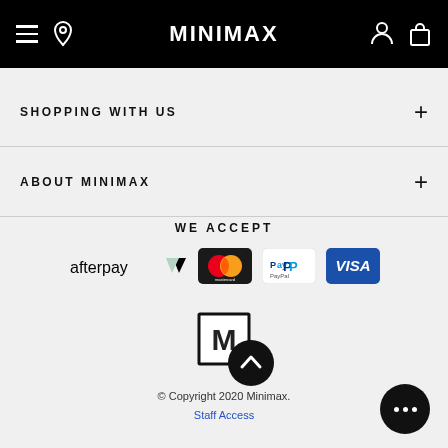MINIMAX
SHOPPING WITH US
ABOUT MINIMAX
WE ACCEPT
[Figure (logo): Payment method logos: Afterpay, Mastercard, PayPal, Visa]
[Figure (logo): Minimax logo box with scroll-to-top button]
© Copyright 2020 Minimax. Staff Access